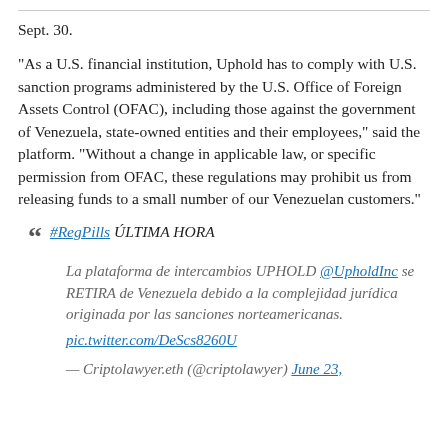Sept. 30.
“As a U.S. financial institution, Uphold has to comply with U.S. sanction programs administered by the U.S. Office of Foreign Assets Control (OFAC), including those against the government of Venezuela, state-owned entities and their employees,” said the platform. “Without a change in applicable law, or specific permission from OFAC, these regulations may prohibit us from releasing funds to a small number of our Venezuelan customers.”
“ #RegPills ÚNDIMA HORA
La plataforma de intercambios UPHOLD @UpholdInc se RETIRA de Venezuela debido a la complejidad jurídica originada por las sanciones norteamericanas. pic.twitter.com/DeScs8260U
— Criptolawyer.eth (@criptolawyer) June 23,